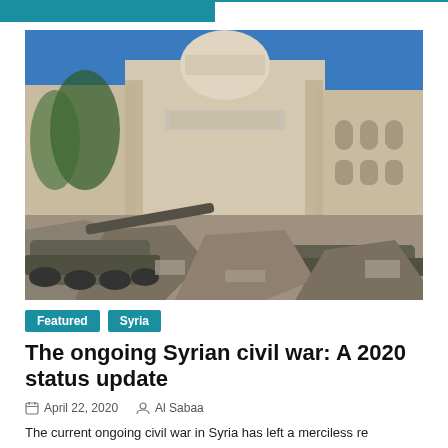[Figure (photo): Destroyed tanks and rubble in front of a damaged building with a dome, likely a mosque or government building in Syria, under a clear blue sky.]
Featured   Syria
The ongoing Syrian civil war: A 2020 status update
April 22, 2020   Al Sabaa
The current ongoing civil war in Syria has left a merciless re